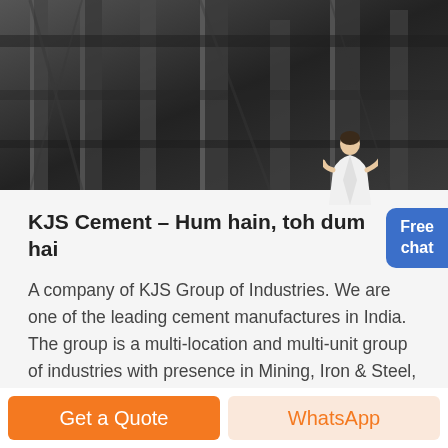[Figure (photo): Dark industrial scene showing metal pipes, beams, and structural steel in a factory or industrial facility, black and white tone]
KJS Cement – Hum hain, toh dum hai
A company of KJS Group of Industries. We are one of the leading cement manufactures in India. The group is a multi-location and multi-unit group of industries with presence in Mining, Iron & Steel, Power, Media, Infrastructure Development such as housing, hotels & commercial space development, Logistics, and ...